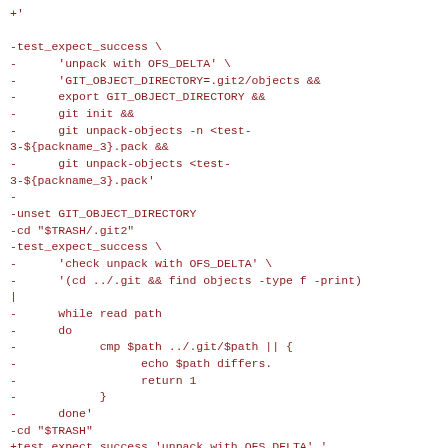+'\n\n-test_expect_success \\\n-      'unpack with OFS_DELTA' \\\n-      'GIT_OBJECT_DIRECTORY=.git2/objects &&\n-      export GIT_OBJECT_DIRECTORY &&\n-      git init &&\n-      git unpack-objects -n <test-3-${packname_3}.pack &&\n-      git unpack-objects <test-3-${packname_3}.pack'\n-\n-unset GIT_OBJECT_DIRECTORY\n-cd "$TRASH/.git2"\n-test_expect_success \\\n-      'check unpack with OFS_DELTA' \\\n-      '(cd ../.git && find objects -type f -print)\n|\n-      while read path\n-      do\n-            cmp $path ../.git/$path || {\n-                  echo $path differs.\n-                  return 1\n-            }\n-      done'\n-cd "$TRASH"\n+test_expect_success 'unpack with OFS_DELTA' '\n+         check_unpack test-3-${packname_3}\n+'